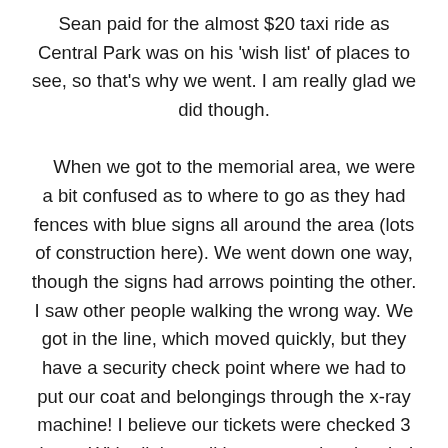Sean paid for the almost $20 taxi ride as Central Park was on his 'wish list' of places to see, so that's why we went. I am really glad we did though. When we got to the memorial area, we were a bit confused as to where to go as they had fences with blue signs all around the area (lots of construction here). We went down one way, though the signs had arrows pointing the other. I saw other people walking the wrong way. We got in the line, which moved quickly, but they have a security check point where we had to put our coat and belongings through the x-ray machine! I believe our tickets were checked 3 times. With all the walking, etc. and no lunch, I has a bit light-headed going in the memorial area-so I was keeping my head up, believe me as it was hard to go in there. It was quite a place to see-such large flowing squares of waterfalls where the twin towers use to go. You